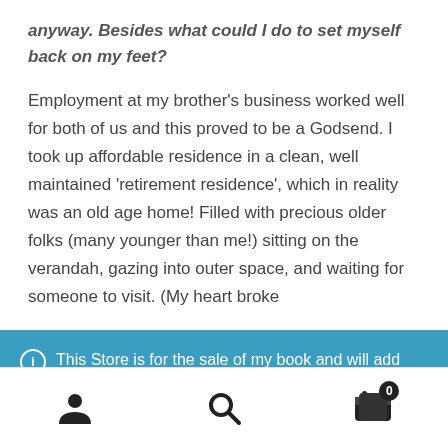anyway. Besides what could I do to set myself back on my feet?
Employment at my brother's business worked well for both of us and this proved to be a Godsend. I took up affordable residence in a clean, well maintained 'retirement residence', which in reality was an old age home! Filled with precious older folks (many younger than me!) sitting on the verandah, gazing into outer space, and waiting for someone to visit. (My heart broke
This Store is for the sale of my book and will add other items as and when I have them.
Dismiss
[Figure (other): Bottom navigation bar with user account icon, search icon, and shopping cart icon with badge showing 0]